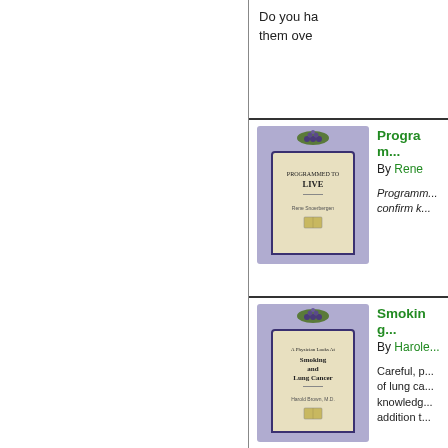Do you ha... them ove...
[Figure (photo): Book cover: Programmed to Live by Rene Snoerbergen]
Programm... By Rene... Programm... confirm k...
[Figure (photo): Book cover: Smoking and Lung Cancer by Harold Shryock]
Smokin... By Harole... Careful, p... of lung ca... knowledge... addition t...